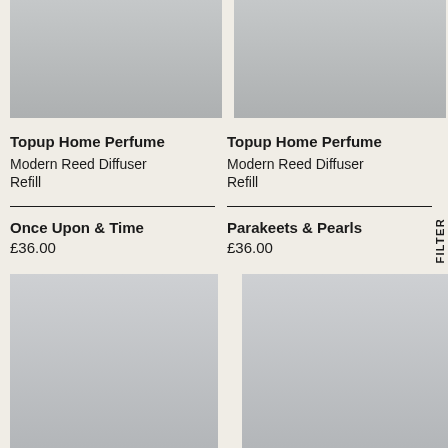[Figure (photo): Top-cropped product photo of a reed diffuser bottle on grey background, left column]
[Figure (photo): Top-cropped product photo of a reed diffuser bottle on grey background, right column]
Topup Home Perfume Modern Reed Diffuser Refill
Topup Home Perfume Modern Reed Diffuser Refill
Once Upon & Time
£36.00
Parakeets & Pearls
£36.00
[Figure (photo): Product photo of aluminium refill bottle on grey background, left column]
[Figure (photo): Product photo of aluminium refill bottle on grey background, right column]